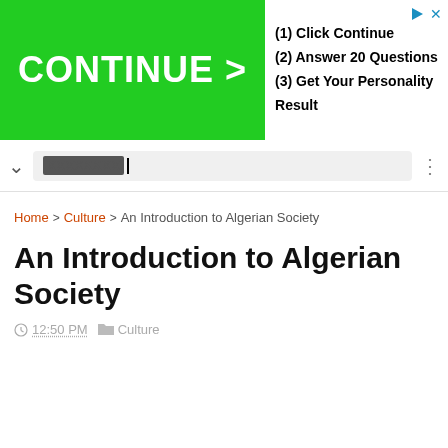[Figure (screenshot): Advertisement banner with green CONTINUE > button and text: (1) Click Continue, (2) Answer 20 Questions, (3) Get Your Personality Result]
An Introduction to Algerian Society
Home > Culture > An Introduction to Algerian Society
An Introduction to Algerian Society
12:50 PM  Culture